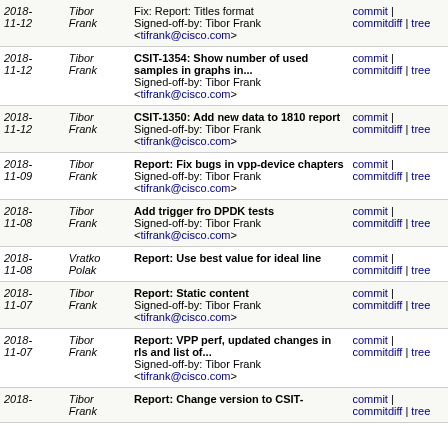| Date | Author | Commit message | Links |
| --- | --- | --- | --- |
| 2018-11-12 | Tibor Frank | Fix: Report: Titles format
Signed-off-by: Tibor Frank <tifrank@cisco.com> | commit | commitdiff | tree |
| 2018-11-12 | Tibor Frank | CSIT-1354: Show number of used samples in graphs in...
Signed-off-by: Tibor Frank <tifrank@cisco.com> | commit | commitdiff | tree |
| 2018-11-12 | Tibor Frank | CSIT-1350: Add new data to 1810 report
Signed-off-by: Tibor Frank <tifrank@cisco.com> | commit | commitdiff | tree |
| 2018-11-09 | Tibor Frank | Report: Fix bugs in vpp-device chapters
Signed-off-by: Tibor Frank <tifrank@cisco.com> | commit | commitdiff | tree |
| 2018-11-08 | Tibor Frank | Add trigger fro DPDK tests
Signed-off-by: Tibor Frank <tifrank@cisco.com> | commit | commitdiff | tree |
| 2018-11-08 | Vratko Polak | Report: Use best value for ideal line | commit | commitdiff | tree |
| 2018-11-07 | Tibor Frank | Report: Static content
Signed-off-by: Tibor Frank <tifrank@cisco.com> | commit | commitdiff | tree |
| 2018-11-07 | Tibor Frank | Report: VPP perf, updated changes in rls and list of...
Signed-off-by: Tibor Frank <tifrank@cisco.com> | commit | commitdiff | tree |
| 2018- | Tibor Frank | Report: Change version to CSIT- | commit | commitdiff |